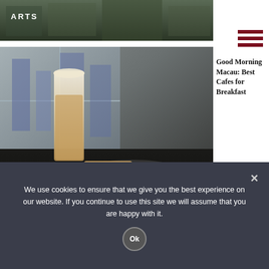[Figure (photo): Dark aerial/street photo with ARTS label overlay at top]
[Figure (photo): Cafe scene showing a tall latte glass and toasted sandwiches on a dark table with DINING label overlay]
Good Morning Macau: Best Cafes for Breakfast
[Figure (photo): Aerial view of Coloane's green forested hiking trails with rocky outcrops]
Guide to Coloane's Hiking Trails
We use cookies to ensure that we give you the best experience on our website. If you continue to use this site we will assume that you are happy with it.